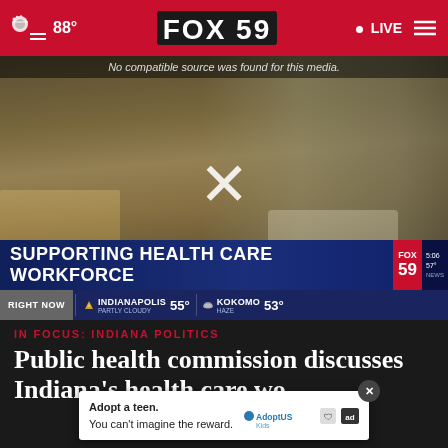88° FOX 59 LIVE
[Figure (screenshot): Hospital room with medical bed, equipment and cabinets. Video player showing 'No compatible source was found for this media.' with an X placeholder icon. Lower third graphic reads 'SUPPORTING HEALTH CARE WORKFORCE' with FOX 59 bug and ticker showing Indianapolis PARTLY CLOUDY 55° and KOKOMO HAZE 53°.]
IN FOCUS: INDIANA POLITICS
Public health commission discusses Indiana's health care wo…
[Figure (other): Advertisement overlay: 'Adopt a teen. You can't imagine the reward.' with AdoptUSKids logo and ad badge icons.]